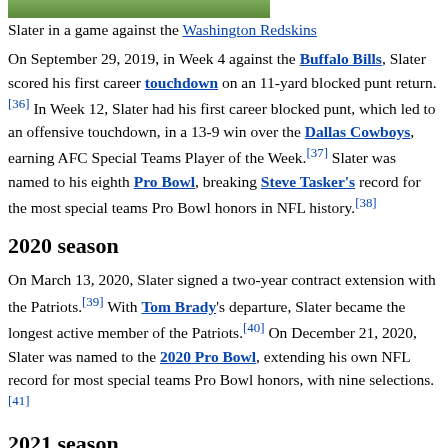[Figure (photo): Top portion of an image showing Slater in a game against the Washington Redskins (green field visible)]
Slater in a game against the Washington Redskins
On September 29, 2019, in Week 4 against the Buffalo Bills, Slater scored his first career touchdown on an 11-yard blocked punt return.[36] In Week 12, Slater had his first career blocked punt, which led to an offensive touchdown, in a 13-9 win over the Dallas Cowboys, earning AFC Special Teams Player of the Week.[37] Slater was named to his eighth Pro Bowl, breaking Steve Tasker's record for the most special teams Pro Bowl honors in NFL history.[38]
2020 season
On March 13, 2020, Slater signed a two-year contract extension with the Patriots.[39] With Tom Brady's departure, Slater became the longest active member of the Patriots.[40] On December 21, 2020, Slater was named to the 2020 Pro Bowl, extending his own NFL record for most special teams Pro Bowl honors, with nine selections.[41]
2021 season
Slater was a standout on special teams once more in the 2021